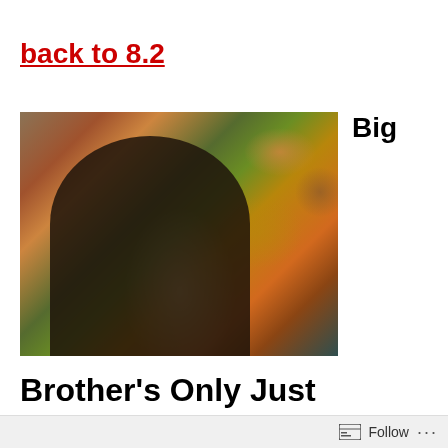back to 8.2
[Figure (photo): Portrait photo of a young woman with long blonde hair smiling, with autumn foliage (orange, red, yellow leaves) in the background]
Big
Brother’s Only Just Begun: A Foucauldian-Feminist
Follow ...